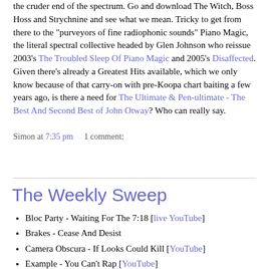the cruder end of the spectrum. Go and download The Witch, Boss Hoss and Strychnine and see what we mean. Tricky to get from there to the "purveyors of fine radiophonic sounds" Piano Magic, the literal spectral collective headed by Glen Johnson who reissue 2003's The Troubled Sleep Of Piano Magic and 2005's Disaffected. Given there's already a Greatest Hits available, which we only know because of that carry-on with pre-Koopa chart baiting a few years ago, is there a need for The Ultimate & Pen-ultimate - The Best And Second Best of John Otway? Who can really say.
Simon at 7:35 pm    1 comment:
Share
The Weekly Sweep
Bloc Party - Waiting For The 7:18 [live YouTube]
Brakes - Cease And Desist
Camera Obscura - If Looks Could Kill [YouTube]
Example - You Can't Rap [YouTube]